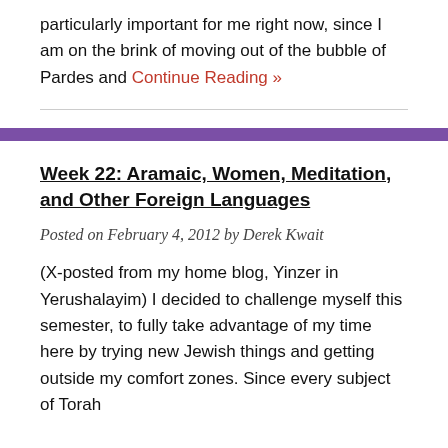particularly important for me right now, since I am on the brink of moving out of the bubble of Pardes and Continue Reading »
Week 22: Aramaic, Women, Meditation, and Other Foreign Languages
Posted on February 4, 2012 by Derek Kwait
(X-posted from my home blog, Yinzer in Yerushalayim) I decided to challenge myself this semester, to fully take advantage of my time here by trying new Jewish things and getting outside my comfort zones. Since every subject of Torah